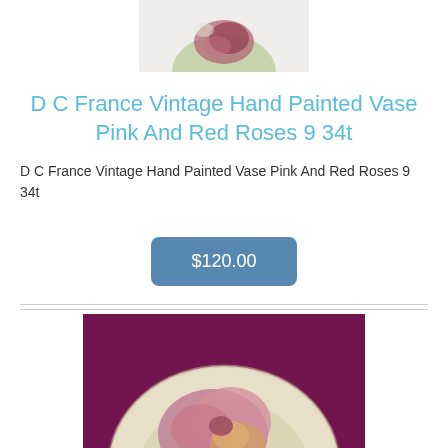[Figure (photo): Partial photo of a hand-painted vase with pink and red roses on a white background, cropped at top]
D C France Vintage Hand Painted Vase Pink And Red Roses 9 34t
D C France Vintage Hand Painted Vase Pink And Red Roses 9 34t
$120.00
[Figure (photo): Photo of a round decorative plate with a pink rose design on a purple/magenta background, partially visible]